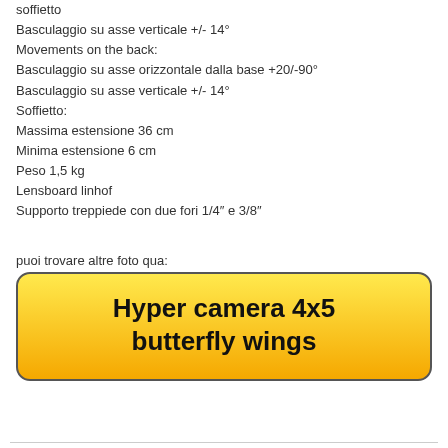soffietto
Basculaggio su asse verticale +/- 14°
Movements on the back:
Basculaggio su asse orizzontale dalla base +20/-90°
Basculaggio su asse verticale +/- 14°
Soffietto:
Massima estensione 36 cm
Minima estensione 6 cm
Peso 1,5 kg
Lensboard linhof
Supporto treppiede con due fori 1/4" e 3/8"
puoi trovare altre foto qua:
[Figure (other): Yellow gradient button with bold black text reading 'Hyper camera 4x5 butterfly wings']